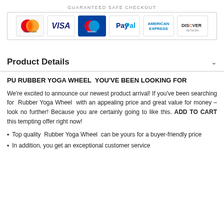[Figure (infographic): Guaranteed Safe Checkout badge showing payment method logos: MasterCard, VISA, Maestro, PayPal, American Express, Discover Network]
Product Details
PU RUBBER YOGA WHEEL  YOU'VE BEEN LOOKING FOR
We're excited to announce our newest product arrival! If you've been searching for  Rubber Yoga Wheel  with an appealing price and great value for money – look no further! Because you are certainly going to like this. ADD TO CART this tempting offer right now!
Top quality  Rubber Yoga Wheel  can be yours for a buyer-friendly price
In addition, you get an exceptional customer service